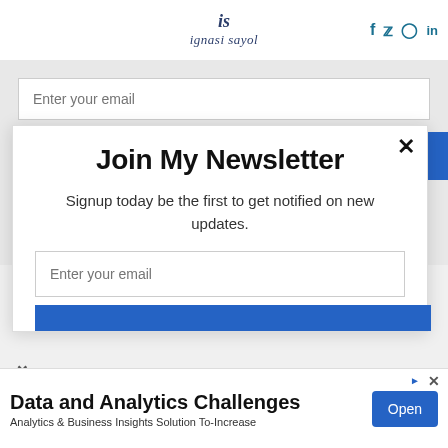ignasi sayol
Enter your email
Subscribe
Join My Newsletter
Signup today be the first to get notified on new updates.
Enter your email
Data and Analytics Challenges
Analytics & Business Insights Solution To-Increase
Open